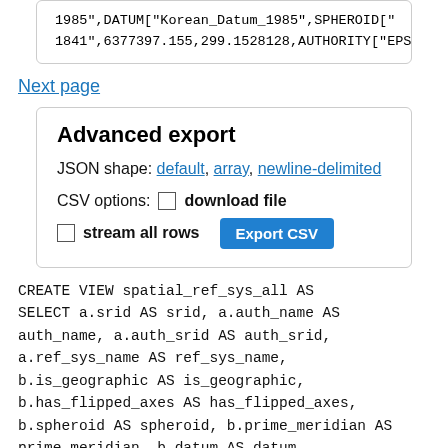1985",DATUM["Korean_Datum_1985",SPHEROID["1841",6377397.155,299.1528128,AUTHORITY["EPS
Next page
Advanced export
JSON shape: default, array, newline-delimited
CSV options: ☐ download file ☐ stream all rows  Export CSV
CREATE VIEW spatial_ref_sys_all AS SELECT a.srid AS srid, a.auth_name AS auth_name, a.auth_srid AS auth_srid, a.ref_sys_name AS ref_sys_name, b.is_geographic AS is_geographic, b.has_flipped_axes AS has_flipped_axes, b.spheroid AS spheroid, b.prime_meridian AS prime_meridian, b.datum AS datum